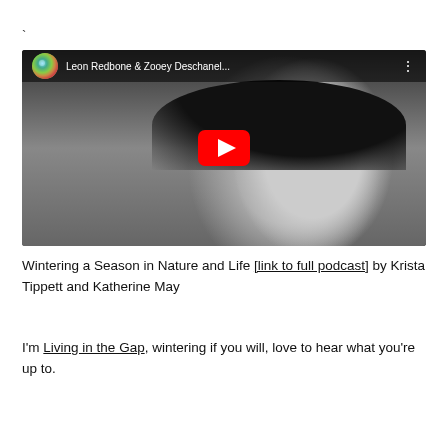`
[Figure (screenshot): YouTube video thumbnail showing a black-and-white photo of a woman with dark hair and bangs, with a YouTube play button overlay. The video title reads 'Leon Redbone & Zooey Deschanel...' with a YouTube logo circle icon and three-dot menu in the top bar.]
Wintering a Season in Nature and Life [link to full podcast] by Krista Tippett and Katherine May
I'm Living in the Gap, wintering if you will, love to hear what you're up to.